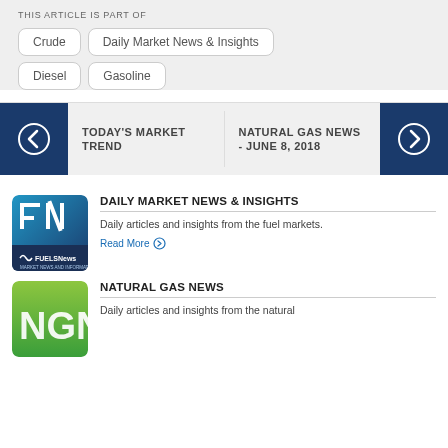THIS ARTICLE IS PART OF
Crude
Daily Market News & Insights
Diesel
Gasoline
TODAY'S MARKET TREND
NATURAL GAS NEWS - JUNE 8, 2018
DAILY MARKET NEWS & INSIGHTS
Daily articles and insights from the fuel markets.
Read More
NATURAL GAS NEWS
Daily articles and insights from the natural